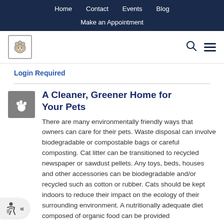Home   Contact   Events   Blog   Make an Appointment
[Figure (logo): Veterinary clinic logo with animal illustration]
Login Required
A Cleaner, Greener Home for Your Pets
There are many environmentally friendly ways that owners can care for their pets. Waste disposal can involve biodegradable or compostable bags or careful composting. Cat litter can be transitioned to recycled newspaper or sawdust pellets. Any toys, beds, houses and other accessories can be biodegradable and/or recycled such as cotton or rubber. Cats should be kept indoors to reduce their impact on the ecology of their surrounding environment. A nutritionally adequate diet composed of organic food can be provided